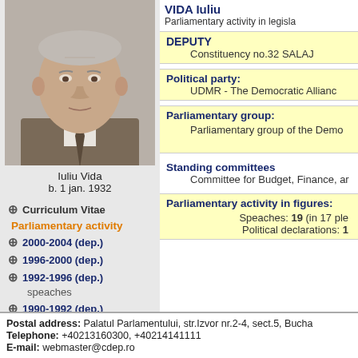[Figure (photo): Portrait photo of Iuliu Vida, an elderly man in a suit]
Iuliu Vida
b. 1 jan. 1932
⊕ Curriculum Vitae
Parliamentary activity
⊕ 2000-2004 (dep.)
⊕ 1996-2000 (dep.)
⊕ 1992-1996 (dep.)
speaches
⊕ 1990-1992 (dep.)
VIDA Iuliu
Parliamentary activity in legisla
DEPUTY
Constituency no.32 SALAJ
Political party:
UDMR - The Democratic Allianc
Parliamentary group:
Parliamentary group of the Demo
Standing committees
Committee for Budget, Finance, ar
Parliamentary activity in figures:
Speaches: 19 (in 17 ple
Political declarations: 1
Postal address: Palatul Parlamentului, str.Izvor nr.2-4, sect.5, Bucha
Telephone: +40213160300, +40214141111
E-mail: webmaster@cdep.ro